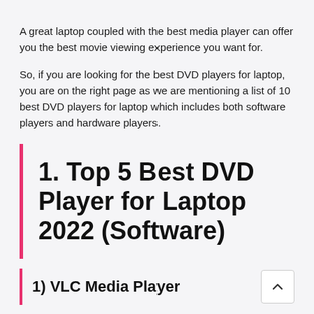A great laptop coupled with the best media player can offer you the best movie viewing experience you want for.
So, if you are looking for the best DVD players for laptop, you are on the right page as we are mentioning a list of 10 best DVD players for laptop which includes both software players and hardware players.
1. Top 5 Best DVD Player for Laptop 2022 (Software)
1) VLC Media Player
VLC Media Player is the best choice for playing DVDs or any media file formats. It supports almost all media file formats so